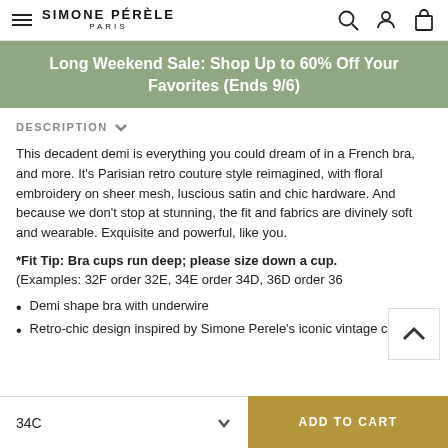SIMONE PÉRÈLE PARIS
Long Weekend Sale: Shop Up to 60% Off Your Favorites (Ends 9/6)
DESCRIPTION
This decadent demi is everything you could dream of in a French bra, and more. It's Parisian retro couture style reimagined, with floral embroidery on sheer mesh, luscious satin and chic hardware. And because we don't stop at stunning, the fit and fabrics are divinely soft and wearable. Exquisite and powerful, like you.
*Fit Tip: Bra cups run deep; please size down a cup. (Examples: 32F order 32E, 34E order 34D, 36D order 36
Demi shape bra with underwire
Retro-chic design inspired by Simone Perele's iconic vintage corsets
34C  ADD TO CART